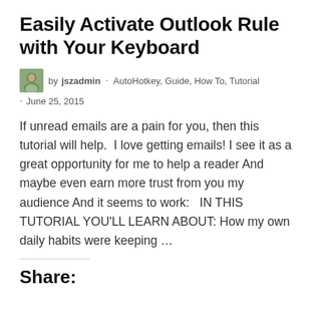Easily Activate Outlook Rule with Your Keyboard
by jszadmin · AutoHotkey, Guide, How To, Tutorial · June 25, 2015
If unread emails are a pain for you, then this tutorial will help.  I love getting emails! I see it as a great opportunity for me to help a reader And maybe even earn more trust from you my audience And it seems to work:   IN THIS TUTORIAL YOU'LL LEARN ABOUT: How my own daily habits were keeping …
Share: